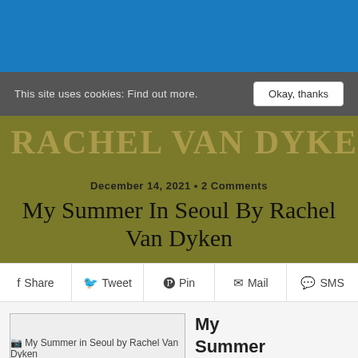This site uses cookies: Find out more.
[Figure (photo): Hero image background with book cover elements — Rachel Van Dyken text visible]
December 14, 2021 • 2 Comments
My Summer In Seoul By Rachel Van Dyken
Share  Tweet  Pin  Mail  SMS
[Figure (photo): My Summer in Seoul by Rachel Van Dyken book cover image placeholder]
My Summer in Seoul
by Rachel Van Dyken
Pages: 412